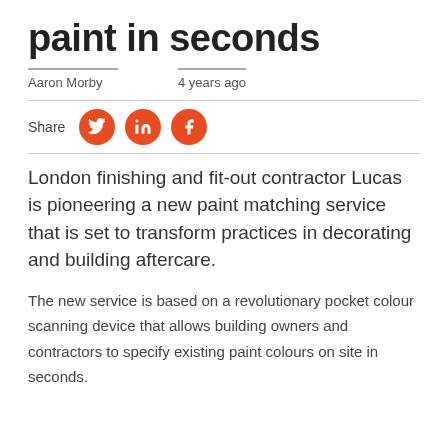paint in seconds
Aaron Morby   4 years ago
[Figure (infographic): Share row with orange circular social media icons for Twitter, LinkedIn, and Facebook]
London finishing and fit-out contractor Lucas is pioneering a new paint matching service that is set to transform practices in decorating and building aftercare.
The new service is based on a revolutionary pocket colour scanning device that allows building owners and contractors to specify existing paint colours on site in seconds.